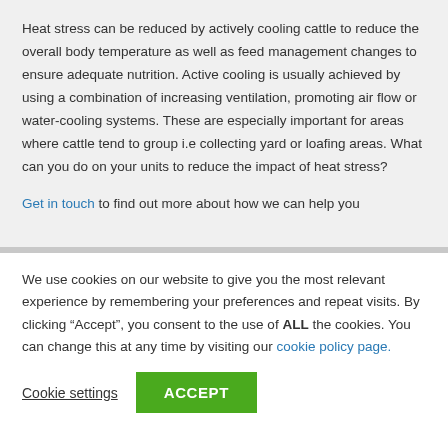Heat stress can be reduced by actively cooling cattle to reduce the overall body temperature as well as feed management changes to ensure adequate nutrition. Active cooling is usually achieved by using a combination of increasing ventilation, promoting air flow or water-cooling systems. These are especially important for areas where cattle tend to group i.e collecting yard or loafing areas. What can you do on your units to reduce the impact of heat stress?
Get in touch to find out more about how we can help you
We use cookies on our website to give you the most relevant experience by remembering your preferences and repeat visits. By clicking "Accept", you consent to the use of ALL the cookies. You can change this at any time by visiting our cookie policy page.
Cookie settings | ACCEPT